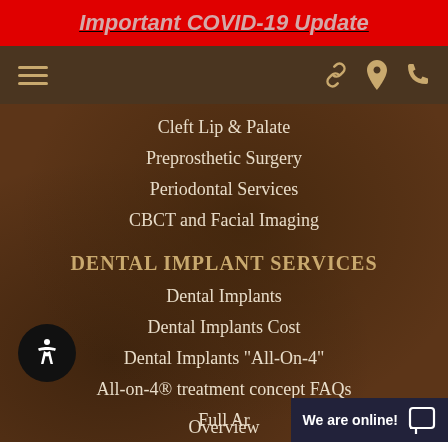Important COVID-19 Update
[Figure (screenshot): Navigation bar with hamburger menu on left and icons (link, location pin, phone) on right]
Cleft Lip & Palate
Preprosthetic Surgery
Periodontal Services
CBCT and Facial Imaging
DENTAL IMPLANT SERVICES
Dental Implants
Dental Implants Cost
Dental Implants "All-On-4"
All-on-4® treatment concept FAQs
Full Ar
Overview
We are online!